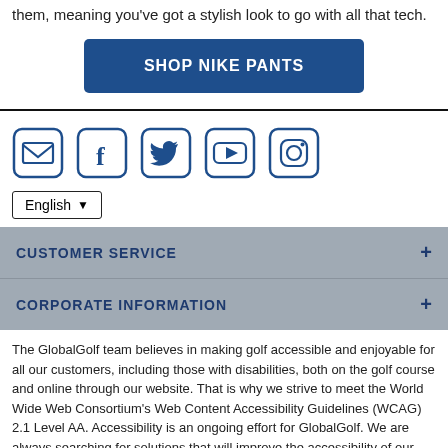them, meaning you've got a stylish look to go with all that tech.
SHOP NIKE PANTS
[Figure (infographic): Five social media icons in a row: Email (envelope), Facebook (f), Twitter (bird), YouTube (play button), Instagram (camera). All outlined in dark blue on white rounded square backgrounds.]
English (dropdown)
CUSTOMER SERVICE
CORPORATE INFORMATION
The GlobalGolf team believes in making golf accessible and enjoyable for all our customers, including those with disabilities, both on the golf course and online through our website. That is why we strive to meet the World Wide Web Consortium's Web Content Accessibility Guidelines (WCAG) 2.1 Level AA. Accessibility is an ongoing effort for GlobalGolf. We are always searching for solutions that will improve the accessibility of our site. If, at any time, you have difficulty using any component of the GlobalGolf website, please feel free